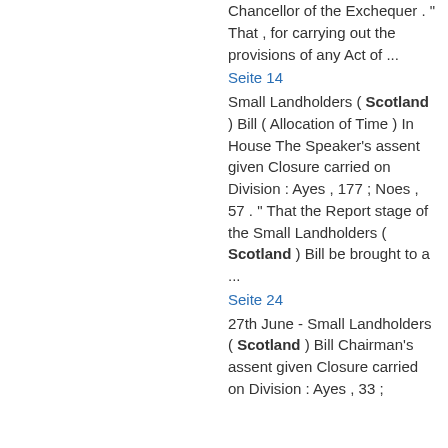Chancellor of the Exchequer . " That , for carrying out the provisions of any Act of ...
Seite 14
Small Landholders ( Scotland ) Bill ( Allocation of Time ) In House The Speaker's assent given Closure carried on Division : Ayes , 177 ; Noes , 57 . " That the Report stage of the Small Landholders ( Scotland ) Bill be brought to a ...
Seite 24
27th June - Small Landholders ( Scotland ) Bill Chairman's assent given Closure carried on Division : Ayes , 33 ;